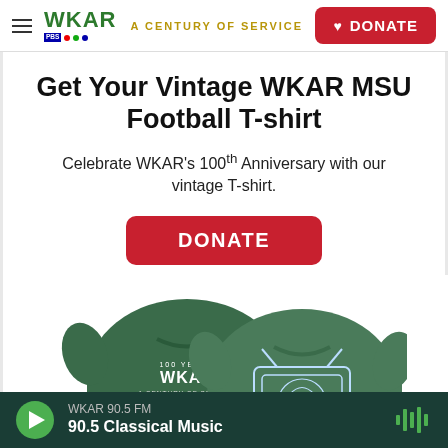WKAR A CENTURY OF SERVICE | DONATE
Get Your Vintage WKAR MSU Football T-shirt
Celebrate WKAR's 100th Anniversary with our vintage T-shirt.
DONATE
[Figure (photo): Two dark green WKAR MSU T-shirts displayed front and back. The back shows WKAR 100 Years A Century of Service Michigan State University. The front shows a vintage TV set with Spartan helmet logo.]
WKAR 90.5 FM | 90.5 Classical Music